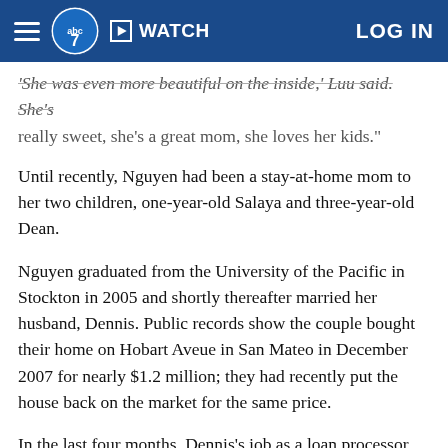ABC7 News — WATCH | LOG IN
She was even more beautiful on the inside,' Luu said. She's really sweet, she's a great mom, she loves her kids."
Until recently, Nguyen had been a stay-at-home mom to her two children, one-year-old Salaya and three-year-old Dean.
Nguyen graduated from the University of the Pacific in Stockton in 2005 and shortly thereafter married her husband, Dennis. Public records show the couple bought their home on Hobart Aveue in San Mateo in December 2007 for nearly $1.2 million; they had recently put the house back on the market for the same price.
In the last four months, Dennis's job as a loan processor with Wachovia slowed down when the bank was bought by Wells Fargo and Kim began working again.